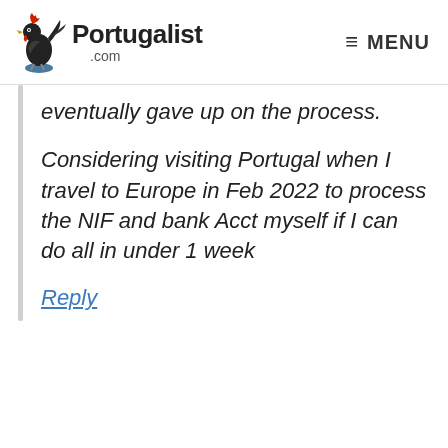Portugalist .com  MENU
eventually gave up on the process.
Considering visiting Portugal when I travel to Europe in Feb 2022 to process the NIF and bank Acct myself if I can do all in under 1 week
Reply